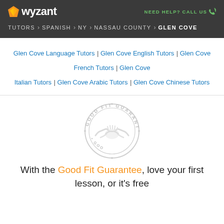wyzant — NEED HELP? CALL US
TUTORS › SPANISH › NY › NASSAU COUNTY › GLEN COVE
Glen Cove Language Tutors | Glen Cove English Tutors | Glen Cove French Tutors | Glen Cove Italian Tutors | Glen Cove Arabic Tutors | Glen Cove Chinese Tutors
[Figure (illustration): Good Fit Guarantee circular badge/seal watermark in light gray]
With the Good Fit Guarantee, love your first lesson, or it's free